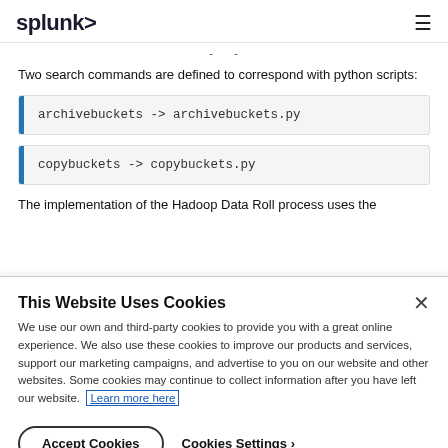splunk>   ≡
- -
Two search commands are defined to correspond with python scripts:
archivebuckets -> archivebuckets.py
copybuckets -> copybuckets.py
The implementation of the Hadoop Data Roll process uses the
This Website Uses Cookies
We use our own and third-party cookies to provide you with a great online experience. We also use these cookies to improve our products and services, support our marketing campaigns, and advertise to you on our website and other websites. Some cookies may continue to collect information after you have left our website. Learn more here
Accept Cookies   Cookies Settings ›